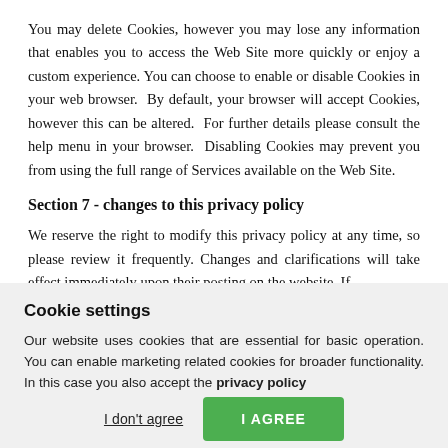You may delete Cookies, however you may lose any information that enables you to access the Web Site more quickly or enjoy a custom experience. You can choose to enable or disable Cookies in your web browser.  By default, your browser will accept Cookies, however this can be altered.  For further details please consult the help menu in your browser.  Disabling Cookies may prevent you from using the full range of Services available on the Web Site.
Section 7 - changes to this privacy policy
We reserve the right to modify this privacy policy at any time, so please review it frequently. Changes and clarifications will take effect immediately upon their posting on the website. If
Cookie settings
Our website uses cookies that are essential for basic operation. You can enable marketing related cookies for broader functionality. In this case you also accept the privacy policy